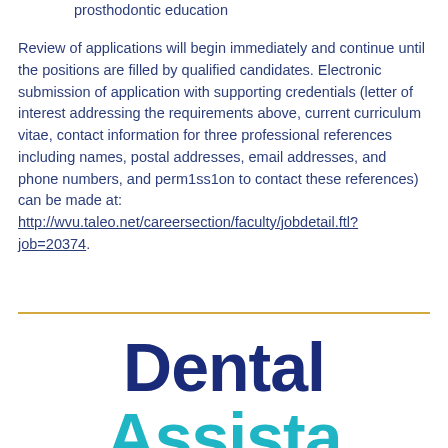prosthodontic education
Review of applications will begin immediately and continue until the positions are filled by qualified candidates. Electronic submission of application with supporting credentials (letter of interest addressing the requirements above, current curriculum vitae, contact information for three professional references including names, postal addresses, email addresses, and phone numbers, and perm1ss1on to contact these references) can be made at: http://wvu.taleo.net/careersection/faculty/jobdetail.ftl?job=20374.
Dental Associates